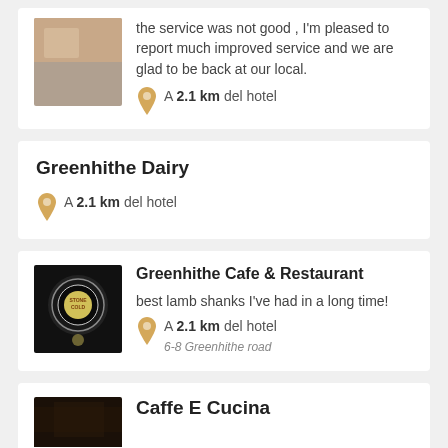the service was not good , I'm pleased to report much improved service and we are glad to be back at our local.
A 2.1 km del hotel
Greenhithe Dairy
A 2.1 km del hotel
[Figure (photo): Dark circular logo or badge with 'Stone Cold' branding, on a black background]
Greenhithe Cafe & Restaurant
best lamb shanks I've had in a long time!
A 2.1 km del hotel
6-8 Greenhithe road
[Figure (photo): Dark photo, appears to be interior or exterior shot]
Caffe E Cucina